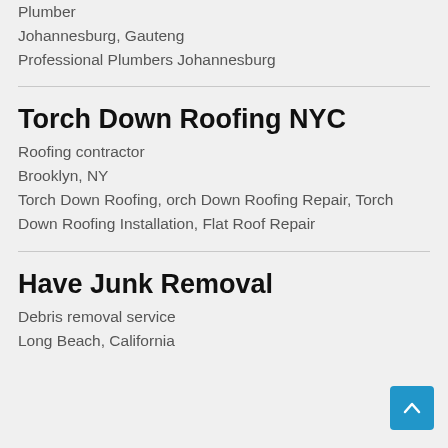Plumber
Johannesburg, Gauteng
Professional Plumbers Johannesburg
Torch Down Roofing NYC
Roofing contractor
Brooklyn, NY
Torch Down Roofing, orch Down Roofing Repair, Torch Down Roofing Installation, Flat Roof Repair
Have Junk Removal
Debris removal service
Long Beach, California